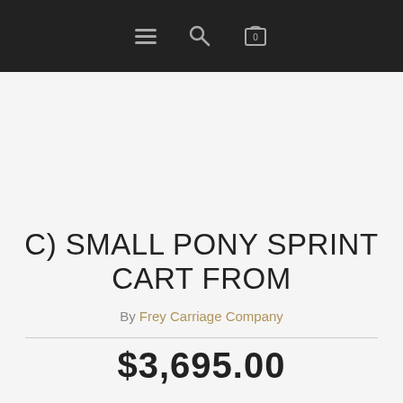Navigation bar with menu, search, and cart (0) icons
[Figure (other): Product image area - blank/empty space for product photo]
C) SMALL PONY SPRINT CART FROM
By Frey Carriage Company
$3,695.00